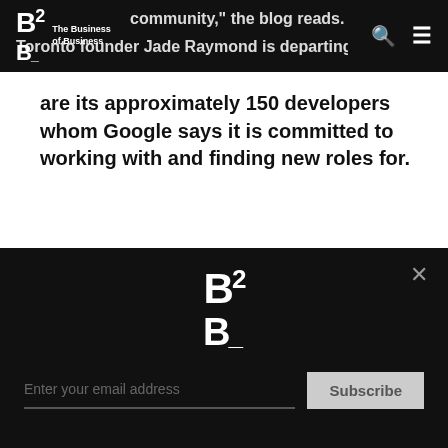B2 The Business of Business
are its approximately 150 developers whom Google says it is committed to working with and finding new roles for.
In light of this news, we are recirculating this article about problems with Stadia's creative leadership. This story initially ran on 10/22/2020.
How does streaming work, really? For someone who